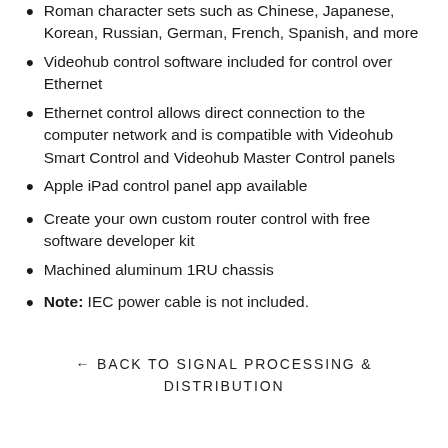Roman character sets such as Chinese, Japanese, Korean, Russian, German, French, Spanish, and more
Videohub control software included for control over Ethernet
Ethernet control allows direct connection to the computer network and is compatible with Videohub Smart Control and Videohub Master Control panels
Apple iPad control panel app available
Create your own custom router control with free software developer kit
Machined aluminum 1RU chassis
Note: IEC power cable is not included.
← BACK TO SIGNAL PROCESSING & DISTRIBUTION